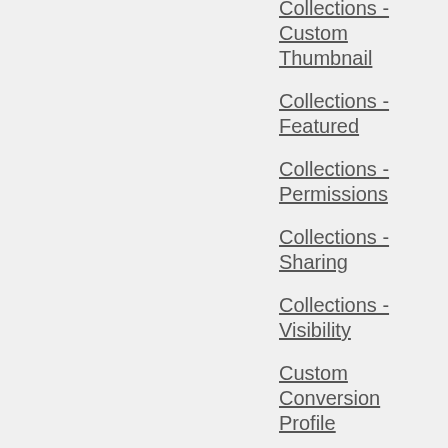Collections - Custom Thumbnail
Collections - Featured
Collections - Permissions
Collections - Sharing
Collections - Visibility
Custom Conversion Profile
Customizing EnterMedia